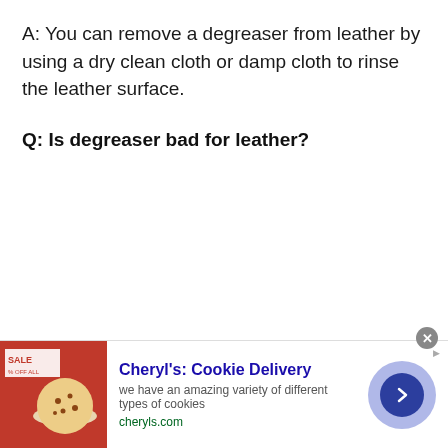A: You can remove a degreaser from leather by using a dry clean cloth or damp cloth to rinse the leather surface.
Q: Is degreaser bad for leather?
[Figure (other): Advertisement banner for Cheryl's Cookie Delivery with cookie image, title, description text 'we have an amazing variety of different types of cookies', URL 'cheryls.com', and a navigation arrow button]